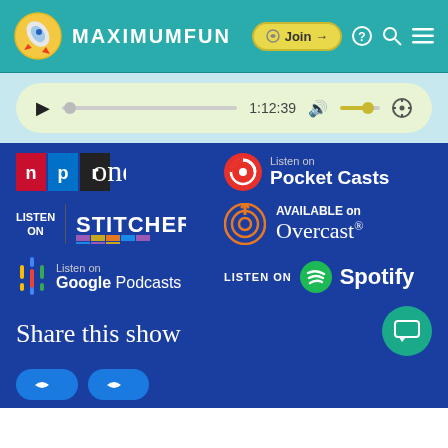[Figure (logo): MaximumFun website header with rocket logo and navigation icons including Join button, help, search, and menu]
[Figure (screenshot): Audio player with play button, progress bar showing 1:12:39, volume control, and settings icon]
[Figure (logo): NPR One podcast platform logo]
[Figure (logo): Pocket Casts listen on badge]
[Figure (logo): Listen on Stitcher badge]
[Figure (logo): Available on Overcast badge]
[Figure (logo): Listen on Google Podcasts badge]
[Figure (logo): Listen on Spotify badge]
Share this show